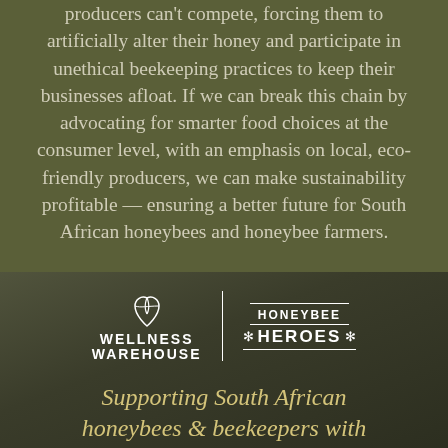producers can't compete, forcing them to artificially alter their honey and participate in unethical beekeeping practices to keep their businesses afloat. If we can break this chain by advocating for smarter food choices at the consumer level, with an emphasis on local, eco-friendly producers, we can make sustainability profitable — ensuring a better future for South African honeybees and honeybee farmers.
[Figure (logo): Wellness Warehouse logo alongside Honeybee Heroes logo with a vertical dividing line between them, on a dark olive/brown photographic background]
Supporting South African honeybees & beekeepers with